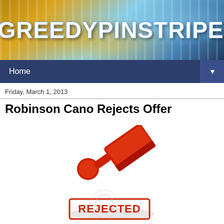[Figure (screenshot): Blog banner with #GREEDYPINSTRIPES text in large white bold font over a baseball-themed background with gold and blue tones and vertical stripes]
Home
Friday, March 1, 2013
Robinson Cano Rejects Offer
[Figure (photo): A red rubber stamp lying on its side with a red 'REJECTED' stamp impression on white surface below it]